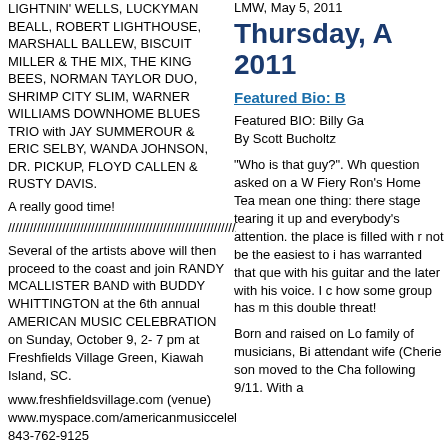LIGHTNIN' WELLS, LUCKYMAN BEALL, ROBERT LIGHTHOUSE, MARSHALL BALLEW, BISCUIT MILLER & THE MIX, THE KING BEES, NORMAN TAYLOR DUO, SHRIMP CITY SLIM, WARNER WILLIAMS DOWNHOME BLUES TRIO with JAY SUMMEROUR & ERIC SELBY, WANDA JOHNSON, DR. PICKUP, FLOYD CALLEN & RUSTY DAVIS.
A really good time!
///////////////////////////////////////////////////////////////////.
Several of the artists above will then proceed to the coast and join RANDY MCALLISTER BAND with BUDDY WHITTINGTON at the 6th annual AMERICAN MUSIC CELEBRATION on Sunday, October 9, 2-7 pm at Freshfields Village Green, Kiawah Island, SC.
www.freshfieldsvillage.com (venue)
www.myspace.com/americanmusiccelebra
843-762-9125
EDDIE C. CAMPBELL with THE KING BEES
BUDDY WHITTINGTON (15 years on with John Mayall) and
LMW, May 5, 2011
Thursday, A 2011
Featured Bio: B
Featured BIO: Billy Ga
By Scott Bucholtz
“Who is that guy?”. Wh question asked on a W Fiery Ron’s Home Tea mean one thing: there stage tearing it up and everybody’s attention. the place is filled with r not be the easiest to i has warranted that que with his guitar and the later with his voice. I c how some group has m this double threat!
Born and raised on Lo family of musicians, Bi attendant wife (Cherie son moved to the Cha following 9/11. With a